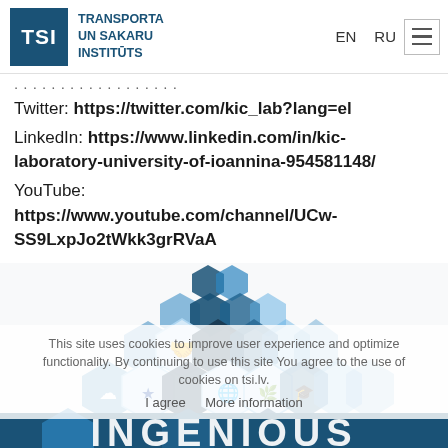TSI | TRANSPORTA UN SAKARU INSTITŪTS | EN | RU
Twitter: https://twitter.com/kic_lab?lang=el
LinkedIn: https://www.linkedin.com/in/kic-laboratory-university-of-ioannina-954581148/
YouTube:
https://www.youtube.com/channel/UCw-SS9LxpJo2tWkk3grRVaA
[Figure (illustration): Hexagonal icon grid forming a triangular arrangement with various icons (handshake, EU flag, globe, cloud upload, people, nature/leaf). At the bottom, large white bold letters spell INGENIOUS (partially visible). A cookie consent overlay is visible on top of the image.]